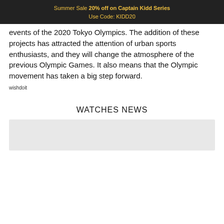Summer Sale 20% off on Captain Kidd Series
Use Code: KIDD20
events of the 2020 Tokyo Olympics. The addition of these projects has attracted the attention of urban sports enthusiasts, and they will change the atmosphere of the previous Olympic Games. It also means that the Olympic movement has taken a big step forward.
wishdoit
WATCHES NEWS
[Figure (photo): Light gray image placeholder at the bottom of the page]